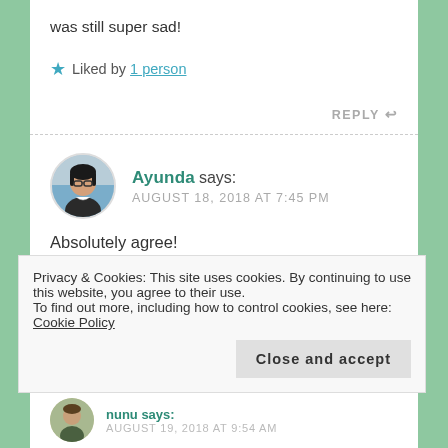was still super sad!
★ Liked by 1 person
REPLY ↩
Ayunda says: AUGUST 18, 2018 AT 7:45 PM
[Figure (photo): Circular avatar photo of Ayunda, a woman with glasses and dark hair]
Absolutely agree!
Privacy & Cookies: This site uses cookies. By continuing to use this website, you agree to their use. To find out more, including how to control cookies, see here: Cookie Policy
Close and accept